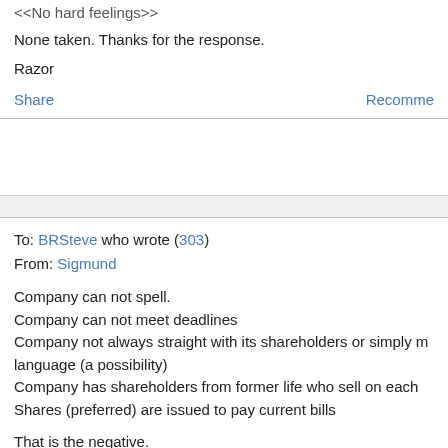<<No hard feelings>>
None taken. Thanks for the response.
Razor
Share    Recommend
To: BRSteve who wrote (303)
From: Sigmund
Company can not spell.
Company can not meet deadlines
Company not always straight with its shareholders or simply m language (a possibility)
Company has shareholders from former life who sell on each
Shares (preferred) are issued to pay current bills

That is the negative.

The positive is: